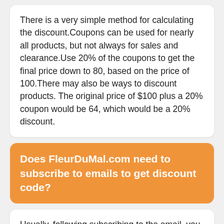There is a very simple method for calculating the discount.Coupons can be used for nearly all products, but not always for sales and clearance.Use 20% of the coupons to get the final price down to 80, based on the price of 100.There may also be ways to discount products. The original price of $100 plus a 20% coupon would be 64, which would be a 20% discount.
Does FleurDuMal.com need to subscribe to emails to get discount code?
Usually, following subscribing to the email, you will receive their latest discounts or coupons as soon as possible.Enter your email address at the bottom of the FleurDuMal.com website, and you will receive the latest promotional information every day